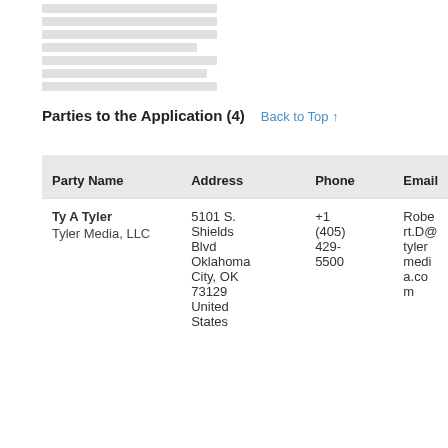[Figure (other): Gray horizontal striped placeholder block at top of page]
Parties to the Application (4)
Back to Top ↑
| Party Name | Address | Phone | Email |
| --- | --- | --- | --- |
| Ty A Tyler
Tyler Media, LLC | 5101 S. Shields Blvd Oklahoma City, OK 73129 United States | +1 (405) 429-5500 | Robert.D@tylermedia.com |